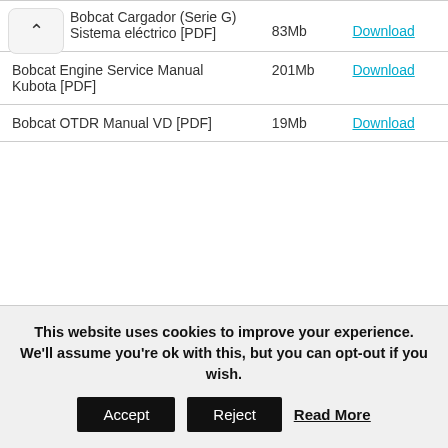| Name | Size | Link |
| --- | --- | --- |
| Bobcat Cargador (Serie G) Sistema eléctrico [PDF] | 83Mb | Download |
| Bobcat Engine Service Manual Kubota [PDF] | 201Mb | Download |
| Bobcat OTDR Manual VD [PDF] | 19Mb | Download |
This website uses cookies to improve your experience. We'll assume you're ok with this, but you can opt-out if you wish.